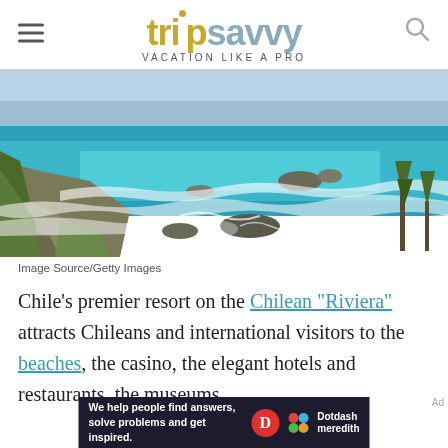tripsavvy VACATION LIKE A PRO
[Figure (photo): Aerial coastal view of Chilean Riviera showing turquoise ocean waves crashing against rocky cliffs with a city in the background]
Image Source/Getty Images
Chile's premier resort on the Chilean "Riviera" attracts Chileans and international visitors to the beaches, the casino, the elegant hotels and restaurants, the museums,
[Figure (other): Dotdash Meredith advertisement banner: We help people find answers, solve problems and get inspired.]